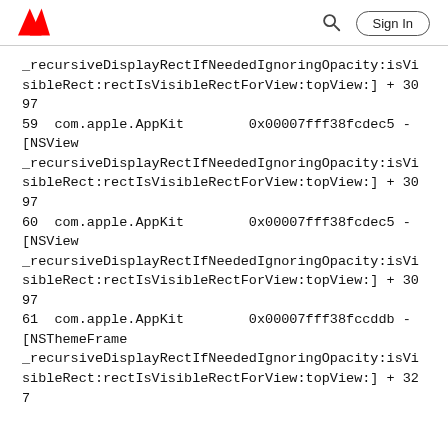Adobe | Sign In
_recursiveDisplayRectIfNeededIgnoringOpacity:isVisibleRect:rectIsVisibleRectForView:topView:] + 30759  com.apple.AppKit         0x00007fff38fcdec5 -[NSView _recursiveDisplayRectIfNeededIgnoringOpacity:isVisibleRect:rectIsVisibleRectForView:topView:] + 30760  com.apple.AppKit         0x00007fff38fcdec5 -[NSView _recursiveDisplayRectIfNeededIgnoringOpacity:isVisibleRect:rectIsVisibleRectForView:topView:] + 30761  com.apple.AppKit         0x00007fff38fccddb -[NSThemeFrame _recursiveDisplayRectIfNeededIgnoringOpacity:isVisibleRect:rectIsVisibleRectForView:topView:] + 327